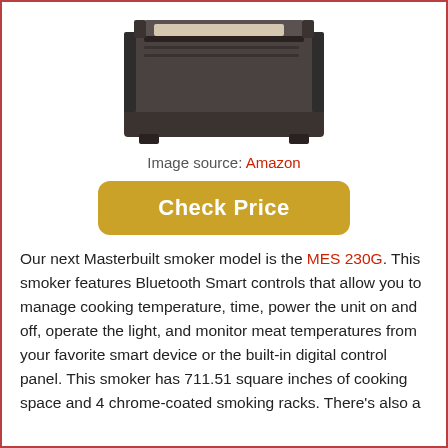[Figure (photo): Photo of a Masterbuilt MES 230G electric smoker, dark gray/black color, box-shaped appliance with hinged top, viewed from above at an angle.]
Image source: Amazon
Check Price
Our next Masterbuilt smoker model is the MES 230G. This smoker features Bluetooth Smart controls that allow you to manage cooking temperature, time, power the unit on and off, operate the light, and monitor meat temperatures from your favorite smart device or the built-in digital control panel. This smoker has 711.51 square inches of cooking space and 4 chrome-coated smoking racks. There's also a